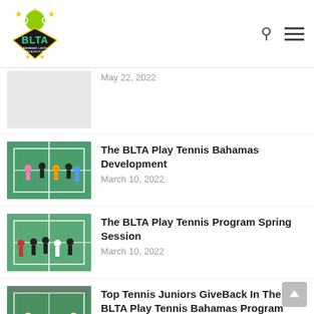[Figure (logo): BLTA Bahamas Lawn Tennis Association logo with tennis ball and shield]
May 22, 2022
The BLTA Play Tennis Bahamas Development
March 10, 2022
[Figure (photo): Children on a tennis court during a training session]
The BLTA Play Tennis Program Spring Session
March 10, 2022
[Figure (photo): Children doing drills on an outdoor tennis court]
Top Tennis Juniors GiveBack In The BLTA Play Tennis Bahamas Program
[Figure (photo): A tennis coach with juniors on a court]